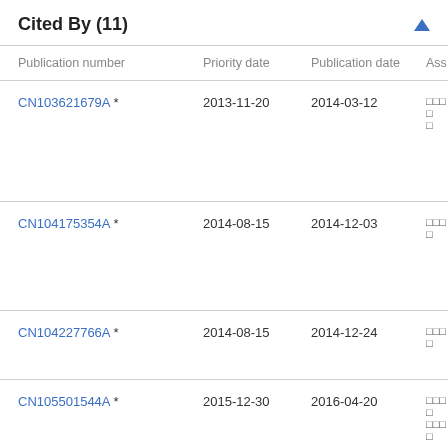Cited By (11)
| Publication number | Priority date | Publication date | Ass |
| --- | --- | --- | --- |
| CN103621679A * | 2013-11-20 | 2014-03-12 | □□□□□ |
| CN104175354A * | 2014-08-15 | 2014-12-03 | □□□□ |
| CN104227766A * | 2014-08-15 | 2014-12-24 | □□□□ |
| CN105501544A * | 2015-12-30 | 2016-04-20 | □□□□□□□□ |